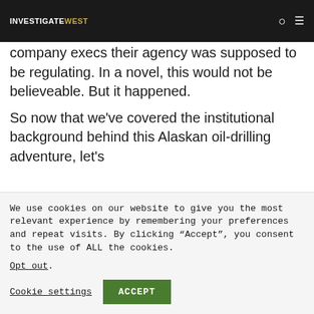INVESTIGATEWEST
...with the oil company execs their agency was supposed to be regulating. In a novel, this would not be believeable. But it happened.

So now that we've covered the institutional background behind this Alaskan oil-drilling adventure, let's
We use cookies on our website to give you the most relevant experience by remembering your preferences and repeat visits. By clicking “Accept”, you consent to the use of ALL the cookies.
Opt out.
Cookie settings  ACCEPT